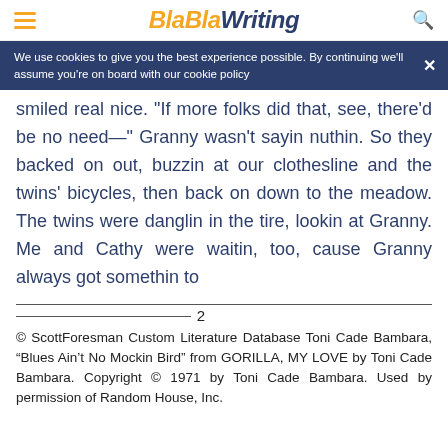BlaBlaWriting
We use cookies to give you the best experience possible. By continuing we'll assume you're on board with our cookie policy
smiled real nice. "If more folks did that, see, there'd be no need—" Granny wasn't sayin nuthin. So they backed on out, buzzin at our clothesline and the twins' bicycles, then back on down to the meadow. The twins were danglin in the tire, lookin at Granny. Me and Cathy were waitin, too, cause Granny always got somethin to
© ScottForesman Custom Literature Database Toni Cade Bambara, “Blues Ain’t No Mockin Bird” from GORILLA, MY LOVE by Toni Cade Bambara. Copyright © 1971 by Toni Cade Bambara. Used by permission of Random House, Inc.